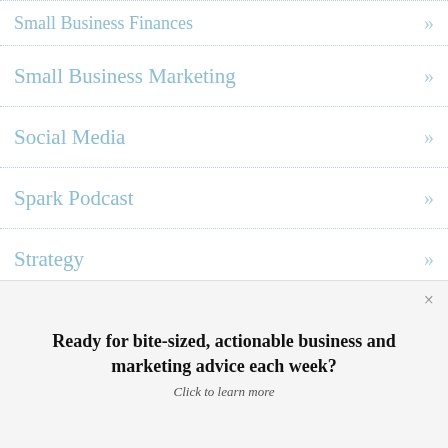Small Business Finances »
Small Business Marketing »
Social Media »
Spark Podcast »
Strategy »
Strategy First »
The Ultimate Marketing Engine »
Tools »
Ready for bite-sized, actionable business and marketing advice each week?
Click to learn more